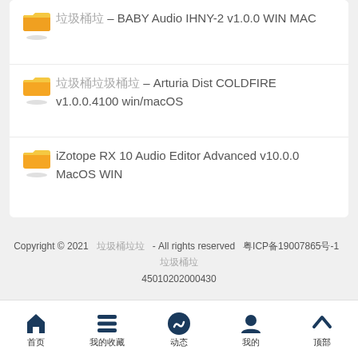垃圾桶 – BABY Audio IHNY-2 v1.0.0 WIN MAC
垃圾桶垃圾桶 – Arturia Dist COLDFIRE v1.0.0.4100 win/macOS
iZotope RX 10 Audio Editor Advanced v10.0.0 MacOS WIN
Copyright © 2021  垃圾桶垃  - All rights reserved  粤ICP备19007865号-1  垃圾桶垃  45010202000430